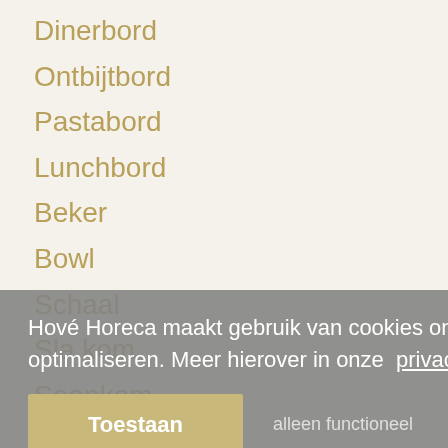Dinerbord
Ontbijtbord
Pastabord
Lunchbord
Beker
Bowl
Schaal
Sla kom
Soepkom
Kom
Kop en Schotel
KLEUR
Beige
Blauw
Blauw Zwart
Hové Horeca maakt gebruik van cookies om de website ervaring te optimaliseren. Meer hierover in onze privacyverklaring
Toestaan
alleen functioneel